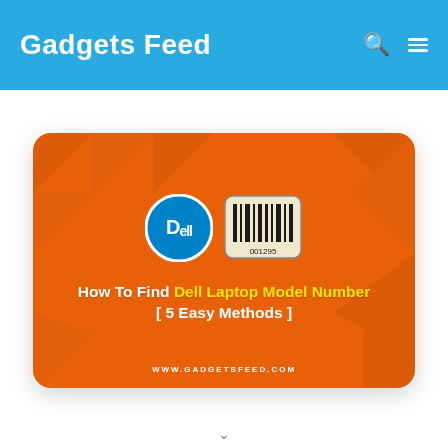Gadgets Feed
[Figure (infographic): Orange card with Dell logo and barcode image, text 'How To Find Dell Laptop Model Number [ 5 Easy Methods ]' and URL www.gadgetsfeed.com]
How To Find Dell Laptop Model Number [ 5 Easy Methods ]